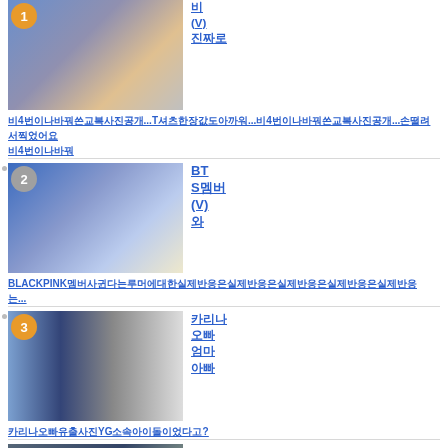[Figure (photo): Item 1: mirror selfie photo with badge number 1 in orange circle]
비 (V) 진짜로
비4번이나바꿔쓴교복사진공개...티셔츠한장값도아까워...손떨려서찍었어요비4번이나바꿔쓴교복사진공개...손떨려서찍었어요
[Figure (photo): Item 2: mirror selfie photo with badge number 2 in gray circle, BLACKPINK text visible]
BTS멤버 (V) 와BLACKPINK멤버사귄다는루머에대한실제반응은...
[Figure (photo): Item 3: photo of a man and woman with badge number 3 in orange circle]
카리나 오빠 엄마 아빠
카리나오빠유출사진YG소속아이돌이었다고?
[Figure (photo): Item 4: partially visible photo at the bottom]